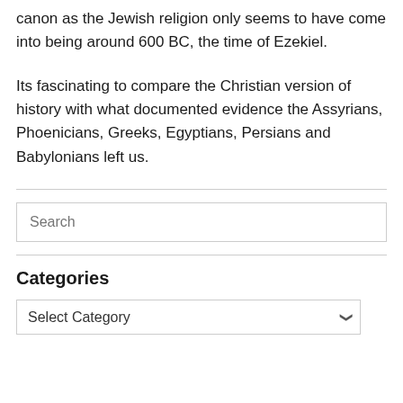canon as the Jewish religion only seems to have come into being around 600 BC, the time of Ezekiel.
Its fascinating to compare the Christian version of history with what documented evidence the Assyrians, Phoenicians, Greeks, Egyptians, Persians and Babylonians left us.
Search
Categories
Select Category